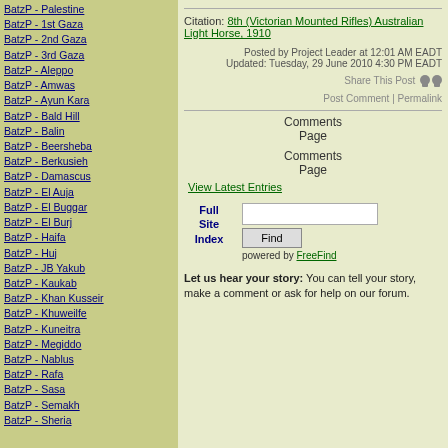BatzP - Palestine
BatzP - 1st Gaza
BatzP - 2nd Gaza
BatzP - 3rd Gaza
BatzP - Aleppo
BatzP - Amwas
BatzP - Ayun Kara
BatzP - Bald Hill
BatzP - Balin
BatzP - Beersheba
BatzP - Berkusieh
BatzP - Damascus
BatzP - El Auja
BatzP - El Buggar
BatzP - El Burj
BatzP - Haifa
BatzP - Huj
BatzP - JB Yakub
BatzP - Kaukab
BatzP - Khan Kusseir
BatzP - Khuweilfe
BatzP - Kuneitra
BatzP - Megiddo
BatzP - Nablus
BatzP - Rafa
BatzP - Sasa
BatzP - Semakh
BatzP - Sheria
Citation: 8th (Victorian Mounted Rifles) Australian Light Horse, 1910
Posted by Project Leader at 12:01 AM EADT
Updated: Tuesday, 29 June 2010 4:30 PM EADT
Share This Post
Post Comment | Permalink
Comments
Page
Comments
Page
View Latest Entries
Full Site Index
Find
powered by FreeFind
Let us hear your story: You can tell your story, make a comment or ask for help on our forum.